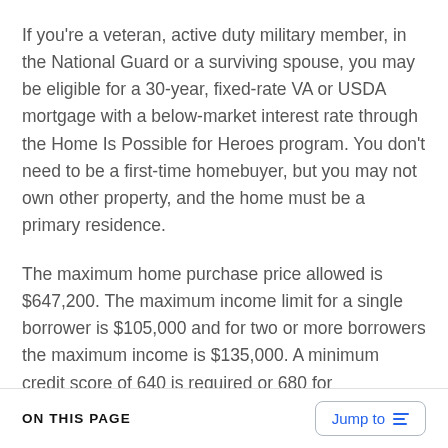If you're a veteran, active duty military member, in the National Guard or a surviving spouse, you may be eligible for a 30-year, fixed-rate VA or USDA mortgage with a below-market interest rate through the Home Is Possible for Heroes program. You don't need to be a first-time homebuyer, but you may not own other property, and the home must be a primary residence.
The maximum home purchase price allowed is $647,200. The maximum income limit for a single borrower is $105,000 and for two or more borrowers the maximum income is $135,000. A minimum credit score of 640 is required or 680 for manufactured
ON THIS PAGE   Jump to